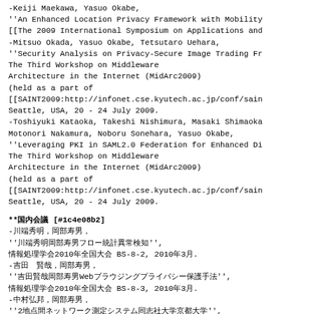-Keiji Maekawa, Yasuo Okabe,
''An Enhanced Location Privacy Framework with Mobility
[[The 2009 International Symposium on Applications and
-Mitsuo Okada, Yasuo Okabe, Tetsutaro Uehara,
''Security Analysis on Privacy-Secure Image Trading Fr
The Third Workshop on Middleware
Architecture in the Internet (MidArc2009)
(held as a part of
[[SAINT2009:http://infonet.cse.kyutech.ac.jp/conf/sain
Seattle, USA, 20 - 24 July 2009.
-Toshiyuki Kataoka, Takeshi Nishimura, Masaki Shimaoka
Motonori Nakamura, Noboru Sonehara, Yasuo Okabe,
''Leveraging PKI in SAML2.0 Federation for Enhanced Di
The Third Workshop on Middleware
Architecture in the Internet (MidArc2009)
(held as a part of
[[SAINT2009:http://infonet.cse.kyutech.ac.jp/conf/sain
Seattle, USA, 20 - 24 July 2009.
**国内会議 [#1c4e08b2]
-川端秀明，岡部寿男，
''フロー統計を用いたネットワーク異常検知'',
情報処理学会2010年全国大会 BS-8-2, 2010年3月.
-吉田　賢哉，岡部寿男，
''ユーザ認証に着目したWebブラウジングにおけるプライバシー保護手法の提案'',
情報処理学会2010年全国大会 BS-8-3, 2010年3月.
-中村弘邦，岡部寿男，
''2地点間ネットワーク測定システムの開発と同志社大学・京都大学間の測定'',
情報処理学会2010年全国大会 BS-8-11, 2010年3月.